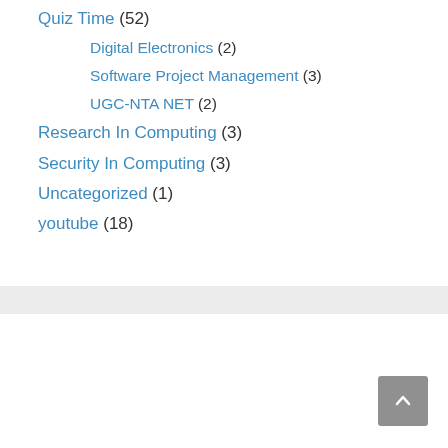Quiz Time (52)
Digital Electronics (2)
Software Project Management (3)
UGC-NTA NET (2)
Research In Computing (3)
Security In Computing (3)
Uncategorized (1)
youtube (18)